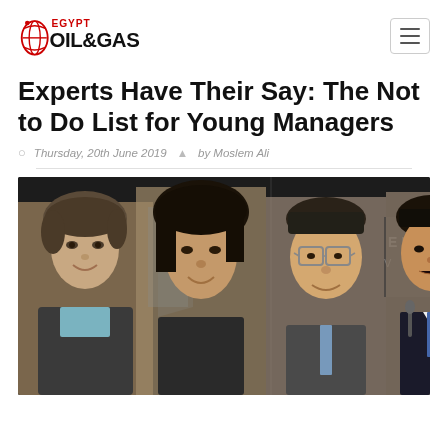[Figure (logo): Egypt Oil & Gas logo with globe/swirl icon in red and black text]
Experts Have Their Say: The Not to Do List for Young Managers
Thursday, 20th June 2019  by Moslem Ali
[Figure (photo): Collage of four professionals (two women, two men) posed for the article about young managers]